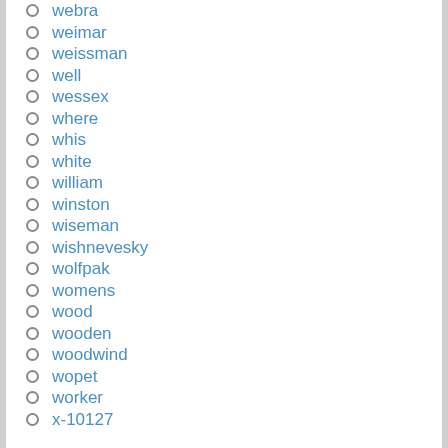webra
weimar
weissman
well
wessex
where
whis
white
william
winston
wiseman
wishnevesky
wolfpak
womens
wood
wooden
woodwind
wopet
worker
x-10127